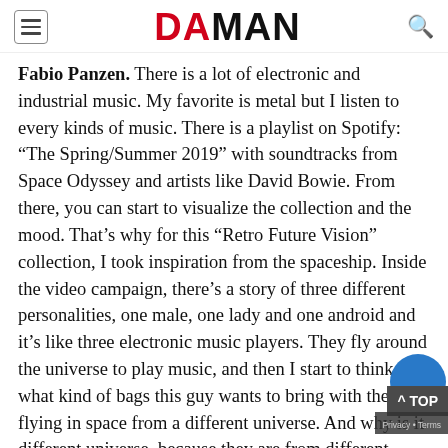DA MAN
Fabio Panzen. There is a lot of electronic and industrial music. My favorite is metal but I listen to every kinds of music. There is a playlist on Spotify: "The Spring/Summer 2019" with soundtracks from Space Odyssey and artists like David Bowie. From there, you can start to visualize the collection and the mood. That’s why for this “Retro Future Vision” collection, I took inspiration from the spaceship. Inside the video campaign, there’s a story of three different personalities, one male, one lady and one android and it’s like three electronic music players. They fly around the universe to play music, and then I start to think what kind of bags this guy wants to bring with them flying in space from a different universe. And why is it different universe, because they are from different races and cultures. But the message is really positive because there are no